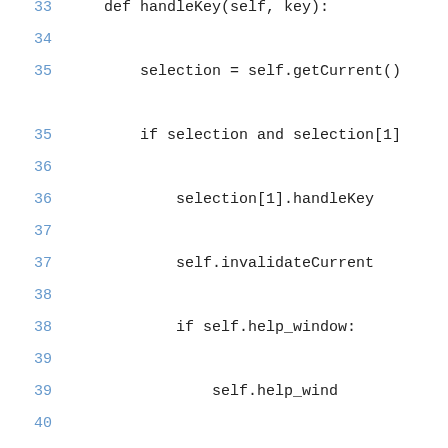33    def handleKey(self, key):
34
35        selection = self.getCurrent()
35
35        if selection and selection[1]
36
36            selection[1].handleKey
37
37            self.invalidateCurrent
38
38            if self.help_window:
39
39                self.help_wind
40
40            if key not in [KEY_TI
41
41                self.timer.st
42
43    def getCurrent(self):
44